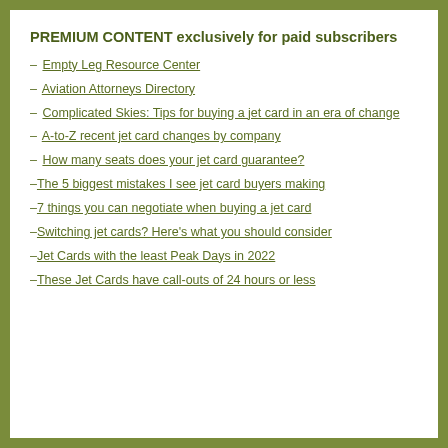PREMIUM CONTENT exclusively for paid subscribers
Empty Leg Resource Center
Aviation Attorneys Directory
Complicated Skies: Tips for buying a jet card in an era of change
A-to-Z recent jet card changes by company
How many seats does your jet card guarantee?
The 5 biggest mistakes I see jet card buyers making
7 things you can negotiate when buying a jet card
Switching jet cards? Here's what you should consider
Jet Cards with the least Peak Days in 2022
These Jet Cards have call-outs of 24 hours or less